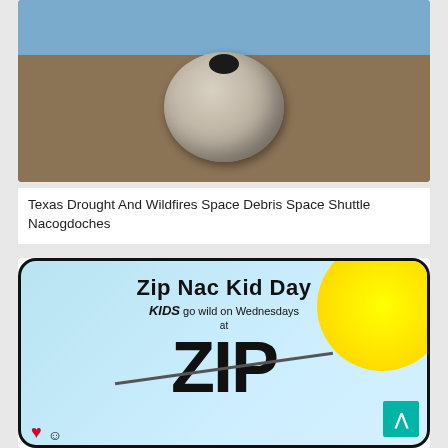[Figure (photo): A spherical rocky/sandy object resembling an egg or space debris sitting on muddy ground near water, with a dark hole at the top. The scene relates to Texas drought, wildfires, and space shuttle debris found in Nacogdoches.]
Texas Drought And Wildfires Space Debris Space Shuttle Nacogdoches
[Figure (illustration): Promotional graphic for 'Zip Nac Kid Day' — KIDS go wild on Wednesdays at ZIP. Large bold black text 'ZIP' in center with a diagonal zipline cable graphic. Yellow sun in upper right corner. Light blue background. Small heart and figure icons at bottom left. Teal back-to-top button at bottom right.]